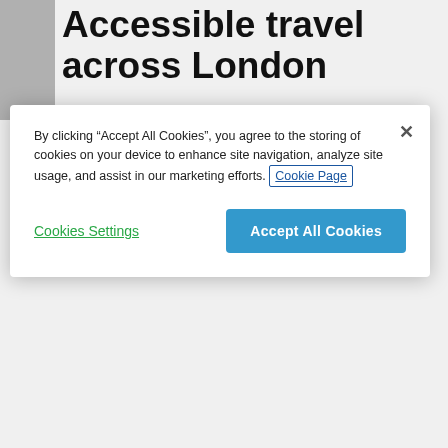Accessible travel across London
By clicking "Accept All Cookies", you agree to the storing of cookies on your device to enhance site navigation, analyze site usage, and assist in our marketing efforts. Cookie Page
Cookies Settings
Accept All Cookies
accessible by ramp. All boats, except Star, Storm and Sky Clipper, have accessible toilets and larger boats have baby changing tables.
Learn more →
Piers
Mobility scooters